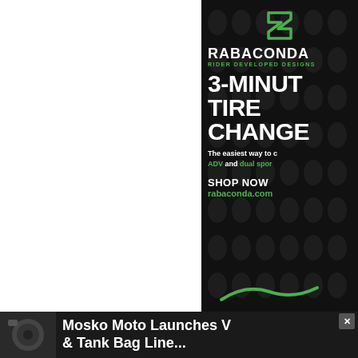[Figure (advertisement): Rabaconda advertisement on dark background with decorative map pin patterns. Shows green Rabaconda logo, brand name 'RABACONDA RIDER DEVELOPED DESIGNS', large white text '3-MINUTE TIRE CHANGER', subtext 'The easiest way to change ADV and dual sport tires', 'SHOP NOW rabaconda.com', green tire lever cord at bottom.]
[Figure (photo): Small thumbnail photo of a dark motorcycle bag/luggage at bottom left]
Mosko Moto Launches V... & Tank Bag Line...